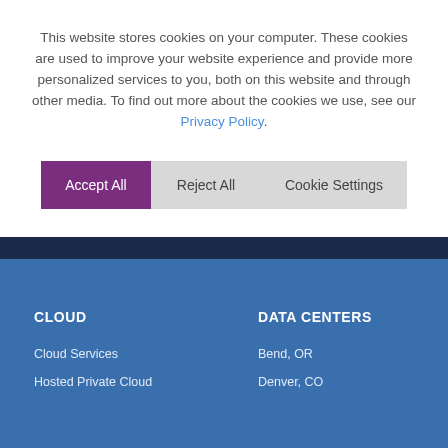This website stores cookies on your computer. These cookies are used to improve your website experience and provide more personalized services to you, both on this website and through other media. To find out more about the cookies we use, see our Privacy Policy.
Accept All
Reject All
Cookie Settings
CLOUD
DATA CENTERS
Cloud Services
Hosted Private Cloud
Bend, OR
Denver, CO